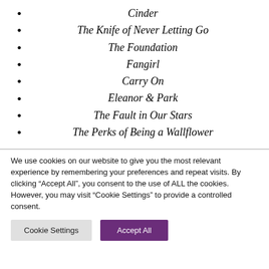Cinder
The Knife of Never Letting Go
The Foundation
Fangirl
Carry On
Eleanor & Park
The Fault in Our Stars
The Perks of Being a Wallflower
We use cookies on our website to give you the most relevant experience by remembering your preferences and repeat visits. By clicking “Accept All”, you consent to the use of ALL the cookies. However, you may visit “Cookie Settings” to provide a controlled consent.